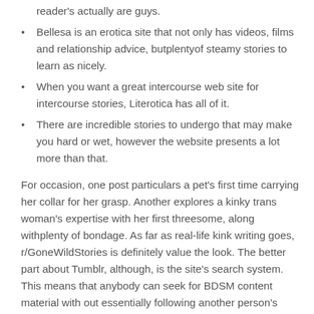reader's actually are guys.
Bellesa is an erotica site that not only has videos, films and relationship advice, butplentyof steamy stories to learn as nicely.
When you want a great intercourse web site for intercourse stories, Literotica has all of it.
There are incredible stories to undergo that may make you hard or wet, however the website presents a lot more than that.
For occasion, one post particulars a pet’s first time carrying her collar for her grasp. Another explores a kinky trans woman’s expertise with her first threesome, along withplenty of bondage. As far as real-life kink writing goes, r/GoneWildStories is definitely value the look. The better part about Tumblr, although, is the site’s search system. This means that anybody can seek for BDSM content material with out essentially following another person’s blog. So for someone thinking about a specific kink, similar to bondage or spanking, simply typing in terms on the site’s search bar can lead to some pretty